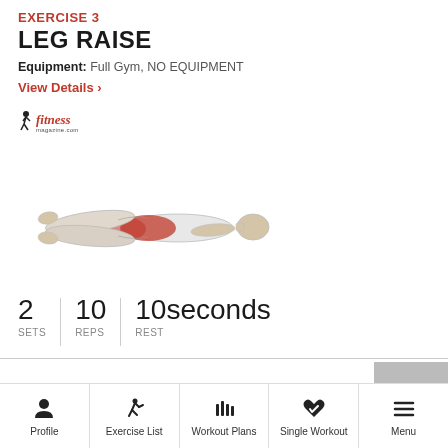EXERCISE 3
LEG RAISE
Equipment: Full Gym, NO EQUIPMENT
View Details ›
[Figure (logo): Fitness website logo with running figure]
[Figure (illustration): Anatomical illustration of a person lying flat performing a leg raise exercise, with core muscles highlighted in red]
2 SETS  10 REPS  10seconds REST
Profile  Exercise List  Workout Plans  Single Workout  Menu